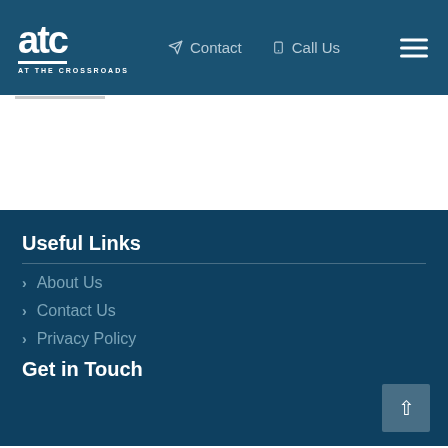ATC AT THE CROSSROADS — Contact | Call Us
Useful Links
About Us
Contact Us
Privacy Policy
Get in Touch